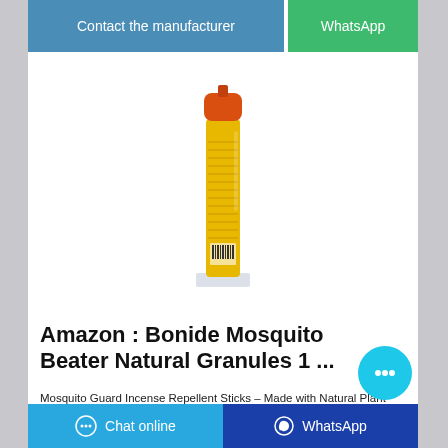[Figure (screenshot): Top button bar with 'Contact the manufacturer' (blue) and 'WhatsApp' (green) buttons]
[Figure (photo): Product photo of a yellow aerosol spray can with orange cap on a white base/stand]
Amazon : Bonide Mosquito Beater Natural Granules 1 ...
Mosquito Guard Incense Repellent Sticks – Made with Natural Plant Based Ingredients: Citronella, Lemongrass & Rosemary Oil - 40 Pack - Deet Free 4.3 out of 5 stars 3,795 2 offers from $10.74
[Figure (screenshot): Bottom bar with 'Chat online' (light blue) and 'WhatsApp' (dark blue) buttons with icons]
[Figure (screenshot): Floating teal chat bubble button with ellipsis icon]